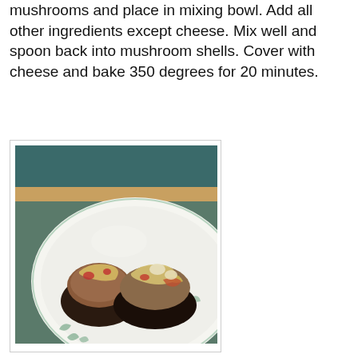mushrooms and place in mixing bowl. Add all other ingredients except cheese. Mix well and spoon back into mushroom shells. Cover with cheese and bake 350 degrees for 20 minutes.
[Figure (photo): A white plate with floral green border pattern containing two stuffed mushrooms topped with melted cheese, tomatoes, and other filling ingredients, placed on a dark surface.]